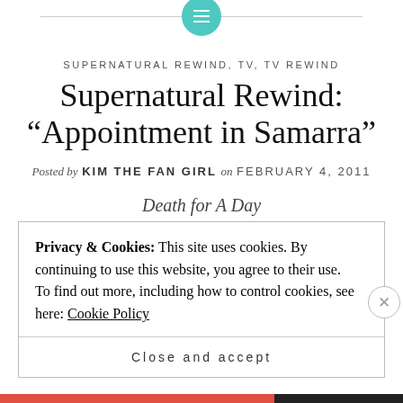Logo / site header icon
SUPERNATURAL REWIND, TV, TV REWIND
Supernatural Rewind: “Appointment in Samarra”
Posted by KIM THE FAN GIRL on FEBRUARY 4, 2011
Death for A Day
Privacy & Cookies: This site uses cookies. By continuing to use this website, you agree to their use.
To find out more, including how to control cookies, see here: Cookie Policy
Close and accept